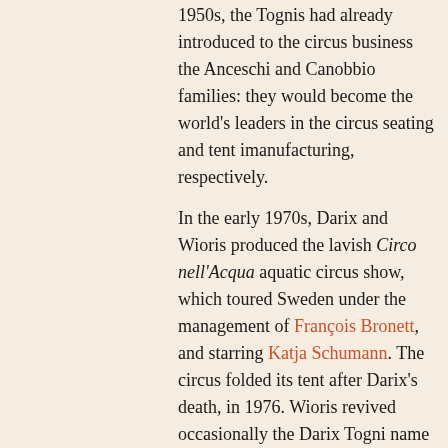1950s, the Tognis had already introduced to the circus business the Anceschi and Canobbio families: they would become the world's leaders in the circus seating and tent imanufacturing, respectively.
In the early 1970s, Darix and Wioris produced the lavish Circo nell'Acqua aquatic circus show, which toured Sweden under the management of François Bronett, and starring Katja Schumann. The circus folded its tent after Darix's death, in 1976. Wioris revived occasionally the Darix Togni name for a few years, before establishing himself, in the 1980s, as an Italian pioneer in the sport and concert arena business. He has been succeeded in that business by his son Divier (b.1949). Wioris's other son, Holer (b.1946), launched in the early 1970s a touring motor show, Stunt Cars, and became Italy's most famous